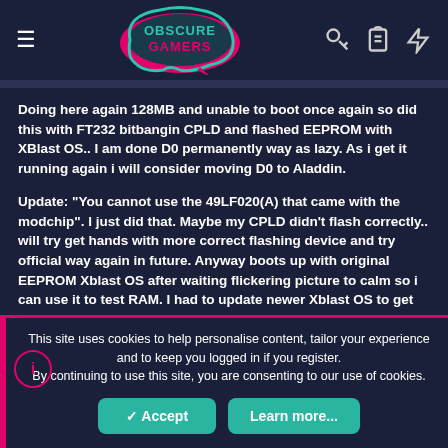Obscure Gamers
Doing here again 128MB and unable to boot once again so did this with FT232 bitbangin CPLD and flashed EEPROM with XBlast OS.. I am done D0 permanently way as lazy. As i get it running again i will consider moving D0 to Aladdin.
Update: "You cannot use the 49LF020(A) that came with the modchip". I just did that. Maybe my CPLD didn't flash correctly.. will try get hands with more correct flashing device and try official way again in future. Anyway boots up with original EEPROM Xblast OS after waiting flickering picture to calm so i can use it to test RAM. I had to update newer Xblast OS to get my controller to
This site uses cookies to help personalise content, tailor your experience and to keep you logged in if you register.
By continuing to use this site, you are consenting to our use of cookies.